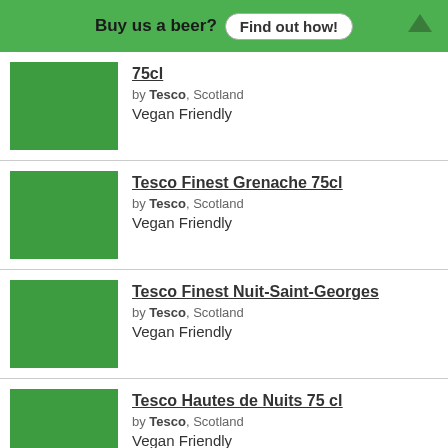Buy us a beer? Find out how!
75cl by Tesco, Scotland Vegan Friendly
Tesco Finest Grenache 75cl by Tesco, Scotland Vegan Friendly
Tesco Finest Nuit-Saint-Georges by Tesco, Scotland Vegan Friendly
Tesco Hautes de Nuits 75 cl by Tesco, Scotland Vegan Friendly
Tesco Saint Chinian 75 cl by Tesco, Scotland Vegan Friendly
Tesco Symply Malbec 75cl by Tesco, Scotland Vegan Friendly